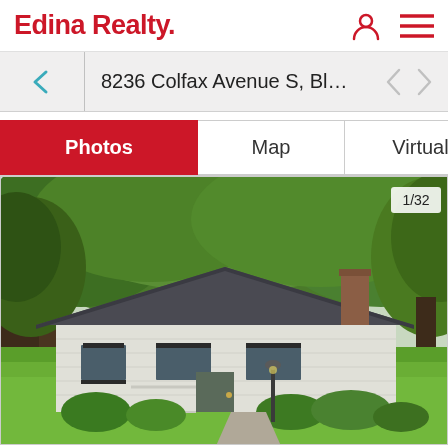Edina Realty.
8236 Colfax Avenue S, Bloomin...
Photos | Map | Virtual tour
[Figure (photo): Exterior photo of a single-story ranch-style white house with a dark gray roof, red brick chimney, surrounded by large green trees and a well-manicured lawn with garden shrubs and flowers. Photo counter shows 1/32.]